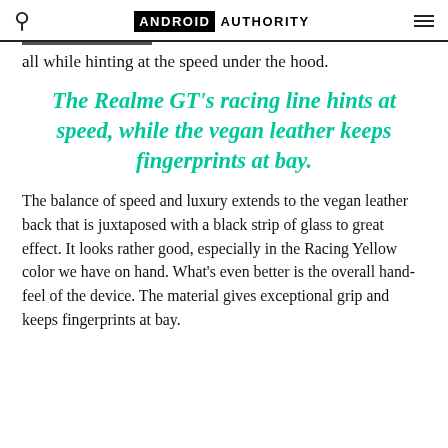ANDROID AUTHORITY
all while hinting at the speed under the hood.
The Realme GT's racing line hints at speed, while the vegan leather keeps fingerprints at bay.
The balance of speed and luxury extends to the vegan leather back that is juxtaposed with a black strip of glass to great effect. It looks rather good, especially in the Racing Yellow color we have on hand. What's even better is the overall hand-feel of the device. The material gives exceptional grip and keeps fingerprints at bay.